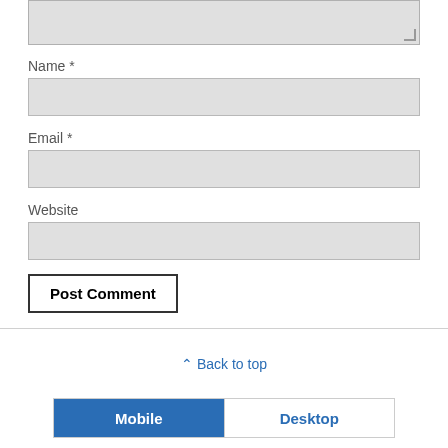[Figure (screenshot): Partial textarea input box at top of page with resize handle]
Name *
[Figure (screenshot): Name input field (empty, light gray background)]
Email *
[Figure (screenshot): Email input field (empty, light gray background)]
Website
[Figure (screenshot): Website input field (empty, light gray background)]
[Figure (screenshot): Post Comment button with black border]
⌃ Back to top
[Figure (screenshot): Mobile/Desktop toggle bar at bottom, Mobile selected in blue]